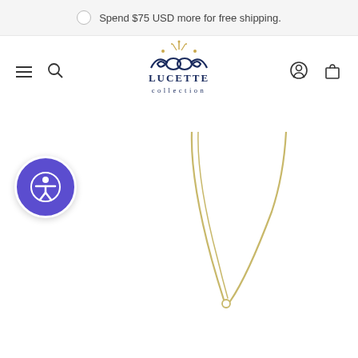Spend $75 USD more for free shipping.
[Figure (logo): Lucette Collection logo — decorative navy blue scrollwork with gold crown and stars above text LUCETTE collection]
[Figure (illustration): Accessibility button — purple circle with white person/accessibility icon]
[Figure (photo): Gold necklace chain photographed against white background, showing the chain draping down with a small ring at the bottom]